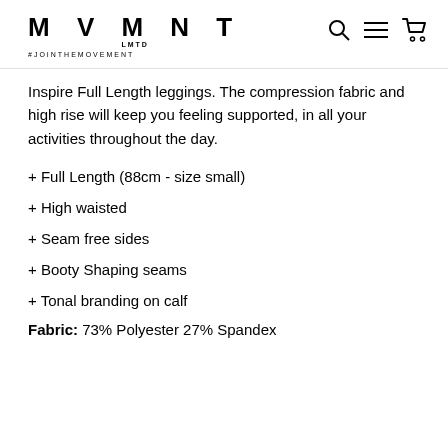MVMNT LMTD #JOINTHEMOVEMENT
Inspire Full Length leggings. The compression fabric and high rise will keep you feeling supported, in all your activities throughout the day.
+ Full Length (88cm - size small)
+ High waisted
+ Seam free sides
+ Booty Shaping seams
+ Tonal branding on calf
Fabric: 73% Polyester 27% Spandex